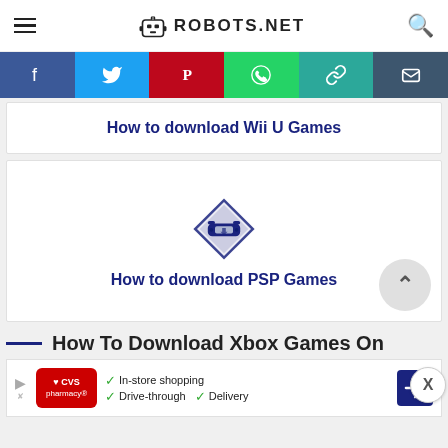ROBOTS.NET
[Figure (infographic): Social sharing bar with Facebook, Twitter, Pinterest, WhatsApp, chain-link, and email icons]
How to download Wii U Games
[Figure (logo): PSP download app icon - diamond shaped icon with handheld console and download arrow]
How to download PSP Games
How To Download Xbox Games On
[Figure (infographic): CVS Pharmacy advertisement banner - In-store shopping, Drive-through, Delivery]